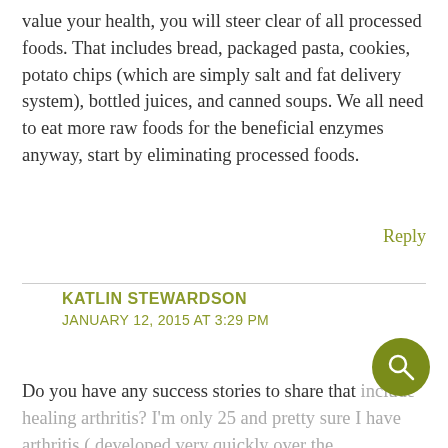value your health, you will steer clear of all processed foods. That includes bread, packaged pasta, cookies, potato chips (which are simply salt and fat delivery system), bottled juices, and canned soups. We all need to eat more raw foods for the beneficial enzymes anyway, start by eliminating processed foods.
Reply
KATLIN STEWARDSON
JANUARY 12, 2015 AT 3:29 PM
Do you have any success stories to share that include healing arthritis? I'm only 25 and pretty sure I have arthritis ( developed very quickly over the